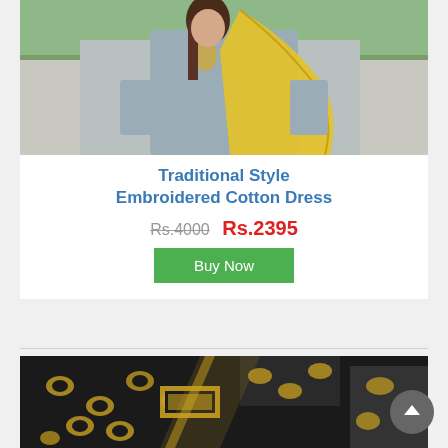[Figure (photo): Woman wearing a grey embroidered cotton dress with a yellow dupatta/shawl, standing outdoors]
Traditional Style Embroidered Cotton Dress
Rs.4000  Rs.2395
Buy Now
[Figure (photo): Close-up of black and gold embroidered fabric/dress material with floral and geometric brocade patterns]